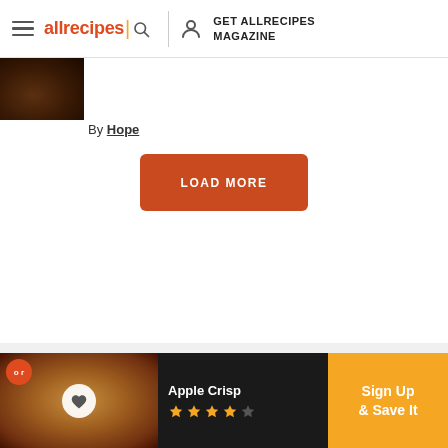allrecipes | GET ALLRECIPES MAGAZINE
[Figure (photo): Partial food photo thumbnail, dark brown dish]
By Hope
LOAD MORE
[Figure (infographic): Advertisement banner: Apple Crisp recipe with Sign Up & Save It on orange background, star rating shown]